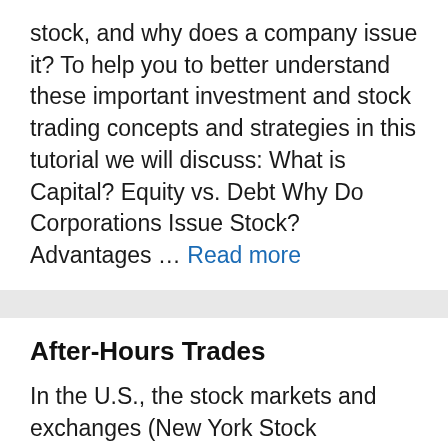stock, and why does a company issue it? To help you to better understand these important investment and stock trading concepts and strategies in this tutorial we will discuss: What is Capital? Equity vs. Debt Why Do Corporations Issue Stock? Advantages … Read more
After-Hours Trades
In the U.S., the stock markets and exchanges (New York Stock Exchange, American Stock Exchange, and Nasdaq) are open from 9:30 a.m. to 4:00 p.m. eastern standard time. What happens when a company announces bad news after the close of the market?